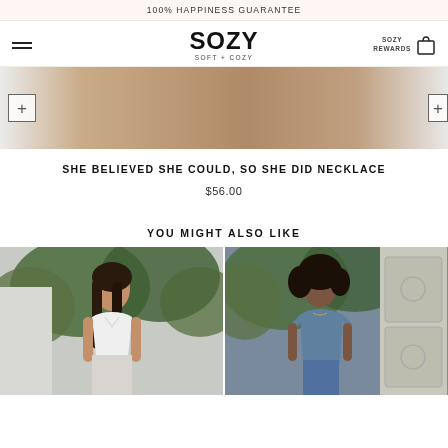100% HAPPINESS GUARANTEE
[Figure (logo): SOZY logo with tagline SOFT + COZY]
[Figure (photo): Product image strip showing necklace product, blurred/cropped view with plus buttons on sides]
SHE BELIEVED SHE COULD, SO SHE DID NECKLACE
$56.00
YOU MIGHT ALSO LIKE
[Figure (photo): Woman wearing white crop top, standing outdoors near greenery]
[Figure (photo): Woman wearing blue t-shirt, standing outdoors near greenery and a door]